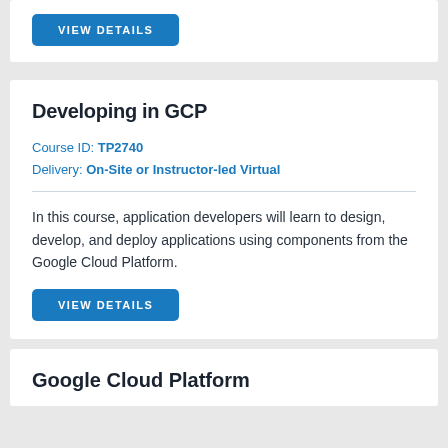VIEW DETAILS
Developing in GCP
Course ID: TP2740
Delivery: On-Site or Instructor-led Virtual
In this course, application developers will learn to design, develop, and deploy applications using components from the Google Cloud Platform.
VIEW DETAILS
Google Cloud Platform